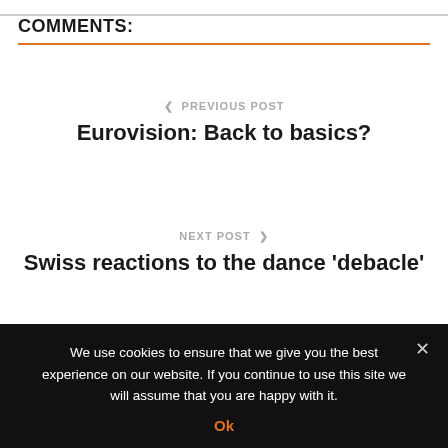COMMENTS:
❮ PREVIOUS POST
Eurovision: Back to basics?
NEXT POST ❯
Swiss reactions to the dance 'debacle'
RELATED POSTS
We use cookies to ensure that we give you the best experience on our website. If you continue to use this site we will assume that you are happy with it.
Ok